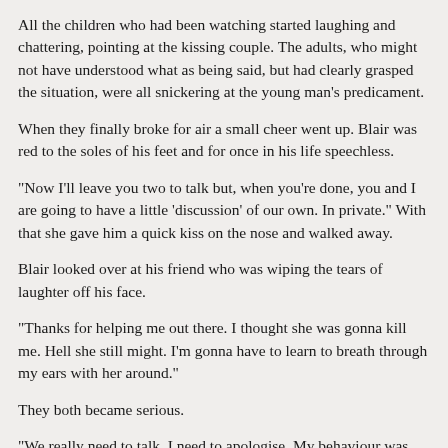All the children who had been watching started laughing and chattering, pointing at the kissing couple. The adults, who might not have understood what as being said, but had clearly grasped the situation, were all snickering at the young man's predicament.
When they finally broke for air a small cheer went up. Blair was red to the soles of his feet and for once in his life speechless.
"Now I'll leave you two to talk but, when you're done, you and I are going to have a little 'discussion' of our own. In private." With that she gave him a quick kiss on the nose and walked away.
Blair looked over at his friend who was wiping the tears of laughter off his face.
"Thanks for helping me out there. I thought she was gonna kill me. Hell she still might. I'm gonna have to learn to breath through my ears with her around."
They both became serious.
"We really need to talk. I need to apologise. My behaviour was unforgivable. I'll understand if you